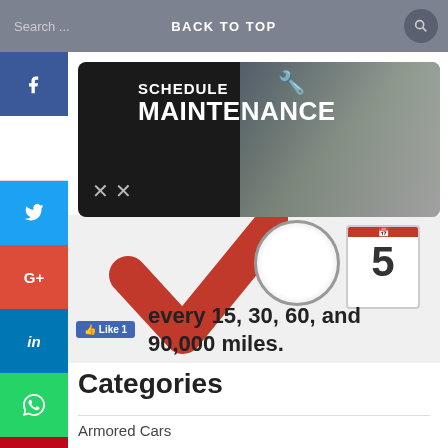Search ... BACK TO TOP
[Figure (screenshot): Schedule Maintenance banner with car icon and mechanic tools on dark background, with hands working on engine]
[Figure (infographic): Large red checkmark with speedometer, calendar showing '5', screwdriver, wrench, and text: 'every 15, 30, 60, and 90,000 miles.' with Facebook Like button showing 1 like]
Categories
Armored Cars